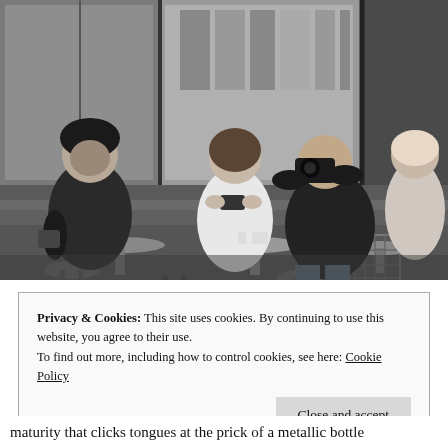[Figure (photo): Black and white photograph of people sitting at outdoor cafe tables on a Parisian street. Four people visible: a woman in a puffy jacket with a beanie on the left, a woman in white looking at her phone in the center, a man with a camera to his eye in the center-right, and a woman in light clothing on the far right. Wicker/rattan bistro chairs and small round tables. Reflections of buildings visible in cafe windows behind them.]
Privacy & Cookies: This site uses cookies. By continuing to use this website, you agree to their use.
To find out more, including how to control cookies, see here: Cookie Policy
Close and accept
maturity that clicks tongues at the prick of a metallic bottle